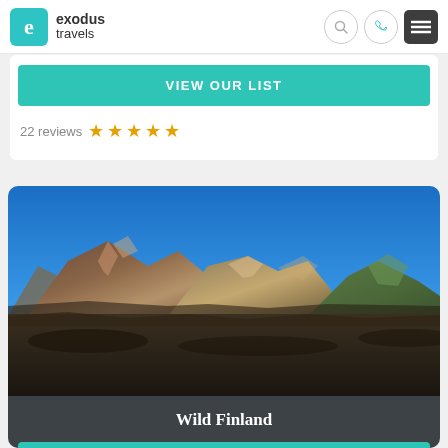exodus travels
VIEW OUR LIST
22 reviews ★★★★★
[Figure (photo): Panoramic mountain landscape photo with colorful rhyolite mountains under a clear blue sky, likely Iceland. Mountains show red, orange, green and brown mineral colors.]
Wild Finland
VIEW DATES & PRICES